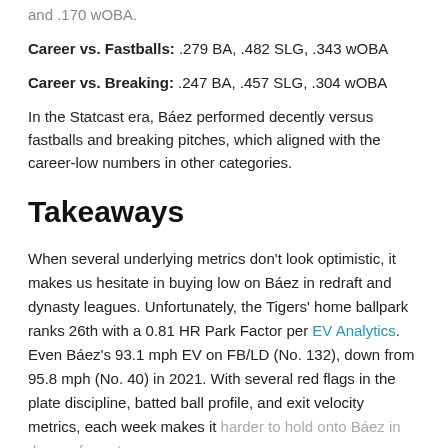and .170 wOBA.
Career vs. Fastballs: .279 BA, .482 SLG, .343 wOBA
Career vs. Breaking: .247 BA, .457 SLG, .304 wOBA
In the Statcast era, Báez performed decently versus fastballs and breaking pitches, which aligned with the career-low numbers in other categories.
Takeaways
When several underlying metrics don't look optimistic, it makes us hesitate in buying low on Báez in redraft and dynasty leagues. Unfortunately, the Tigers' home ballpark ranks 26th with a 0.81 HR Park Factor per EV Analytics. Even Báez's 93.1 mph EV on FB/LD (No. 132), down from 95.8 mph (No. 40) in 2021. With several red flags in the plate discipline, batted ball profile, and exit velocity metrics, each week makes it harder to hold onto Báez in deeper formats.